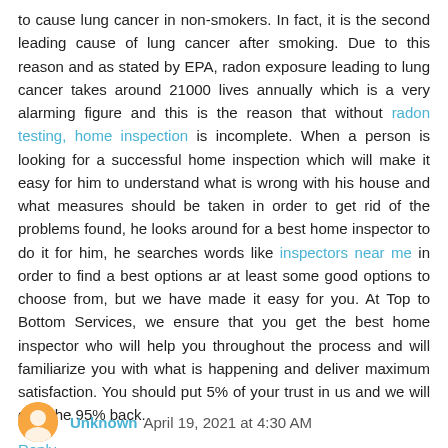to cause lung cancer in non-smokers. In fact, it is the second leading cause of lung cancer after smoking. Due to this reason and as stated by EPA, radon exposure leading to lung cancer takes around 21000 lives annually which is a very alarming figure and this is the reason that without radon testing, home inspection is incomplete. When a person is looking for a successful home inspection which will make it easy for him to understand what is wrong with his house and what measures should be taken in order to get rid of the problems found, he looks around for a best home inspector to do it for him, he searches words like inspectors near me in order to find a best options ar at least some good options to choose from, but we have made it easy for you. At Top to Bottom Services, we ensure that you get the best home inspector who will help you throughout the process and will familiarize you with what is happening and deliver maximum satisfaction. You should put 5% of your trust in us and we will gain the 95% back.
Reply
Unknown April 19, 2021 at 4:30 AM